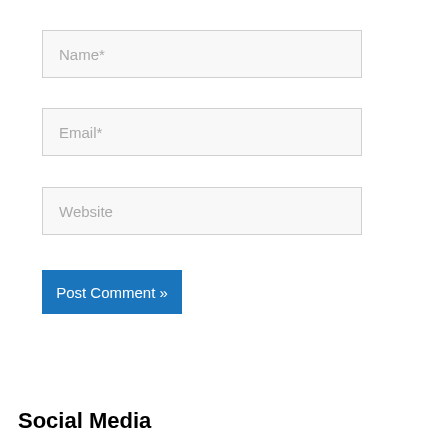[Figure (screenshot): Form field with placeholder text 'Name*']
[Figure (screenshot): Form field with placeholder text 'Email*']
[Figure (screenshot): Form field with placeholder text 'Website']
[Figure (screenshot): Blue button labeled 'Post Comment »']
Social Media